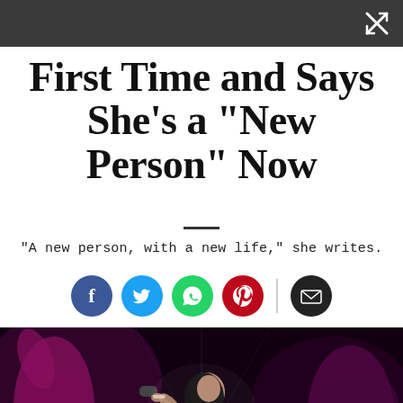First Time and Says She's a "New Person" Now
"A new person, with a new life," she writes.
[Figure (photo): A female singer with dark hair performing on stage with a microphone, surrounded by dancers in a dark purple-lit stage environment.]